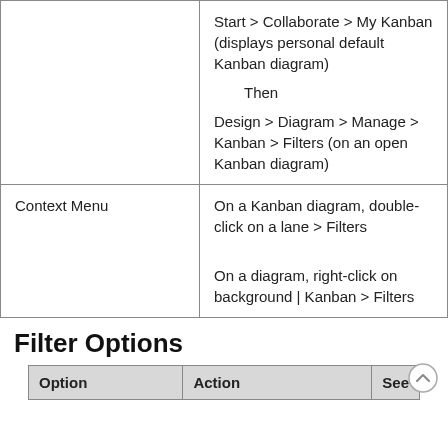|  | Start > Collaborate > My Kanban (displays personal default Kanban diagram)

Then

Design > Diagram > Manage > Kanban > Filters (on an open Kanban diagram) |
| Context Menu | On a Kanban diagram, double-click on a lane > Filters

On a diagram, right-click on background | Kanban > Filters |
Filter Options
| Option | Action | See |
| --- | --- | --- |